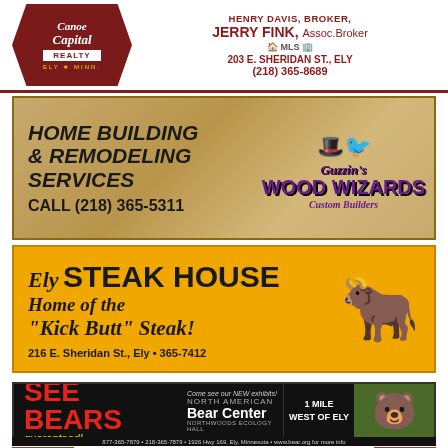[Figure (illustration): Canoe Capital Realty advertisement with logo, Jerry Fink Assoc. Broker, 203 E. Sheridan St., Ely, (218) 365-8689]
[Figure (illustration): Guzzin's Wood Wizards - Home Building & Remodeling Services, Call (218) 365-5311, Custom Builders]
[Figure (illustration): Ely Steak House - Home of the Kick Butt Steak! 216 E. Sheridan St., Ely • 365-7412]
[Figure (illustration): North American Bear Center - See Bears guaranteed! Come see our NEW exhibits! 1 Mile West of Ely. 877-365-7879 • 218-365-7879 • 1926 Hwy 169, Ely, Minnesota • www.bear.org for more info]
[Figure (illustration): z'UP North Realty - Click here to see our listings]